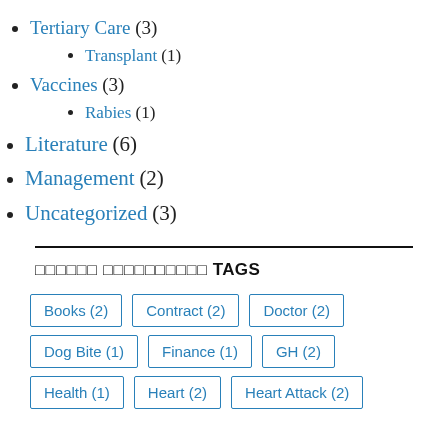Tertiary Care (3)
Transplant (1)
Vaccines (3)
Rabies (1)
Literature (6)
Management (2)
Uncategorized (3)
□□□□□□ □□□□□□□□□□ TAGS
Books (2)  Contract (2)  Doctor (2)  Dog Bite (1)  Finance (1)  GH (2)  Health (1)  Heart (2)  Heart Attack (2)